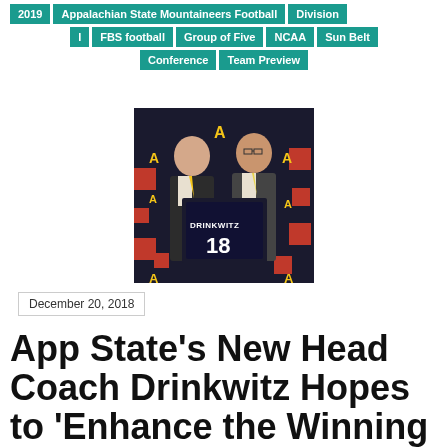2019
Appalachian State Mountaineers Football
Division I
FBS football
Group of Five
NCAA
Sun Belt Conference
Team Preview
[Figure (photo): Two men in suits holding up a football jersey that reads DRINKWITZ 18, posing in front of an Appalachian State backdrop]
December 20, 2018
App State’s New Head Coach Drinkwitz Hopes to ‘Enhance the Winning Culture’